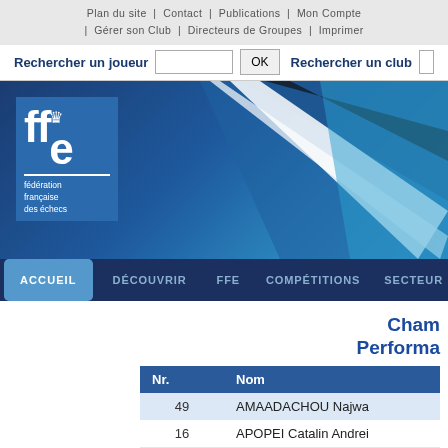Plan du site | Contact | Publications | Mon Compte | Gérer son Club | Directeurs de Groupes | Imprimer
Rechercher un joueur  OK  Rechercher un club
[Figure (logo): FFE logo - fédération française des échecs with chess crown icon, blue background banner with diagonal white and dark stripe accents]
ACCUEIL  DÉCOUVRIR  FFE  COMPÉTITIONS  SECTEUR
Cham Performa
| Nr. | Nom |
| --- | --- |
| 49 | AMAADACHOU Najwa |
| 16 | APOPEI Catalin Andrei |
| 76 | ARRIETTO Andria |